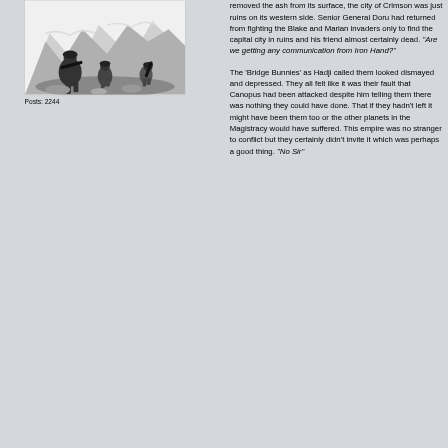[Figure (illustration): Black and white illustration showing soldiers or fighters in action among rocky terrain with weapons]
Posts: 2244
removed the ash from its surface, the city of Crimson was just ruins on its western side. Senior General Doru had returned from fighting the Blake and Marian invaders only to find the capital city in ruins and his friend almost certainly dead. "Are we getting any communication from Iron Hand?"
The 'Bridge Bunnies' as Hadji called them looked dismayed and depressed. They all felt like it was their fault that Canopus had been attacked despite him telling them there was nothing they could have done. That if they hadn't left it might have been them too or the other planets in the Magistracy would have suffered. This empire was no stranger to conflict but they certainly didn't invite it which was perhaps a good thing. "No Sir"